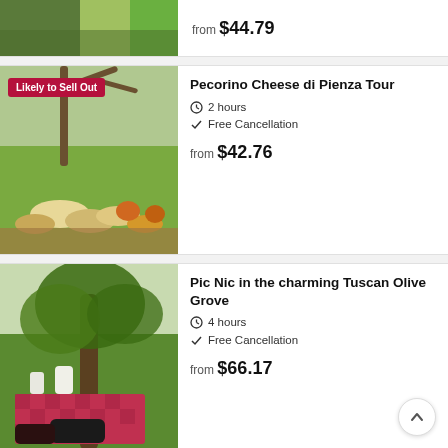from $44.79
[Figure (photo): Partial view of a Tuscan vineyard/garden scene with green foliage]
[Figure (photo): Pecorino cheese wheels and gourds arranged outdoors on a wooden surface with Tuscan countryside backdrop, badge reading Likely to Sell Out]
Pecorino Cheese di Pienza Tour
2 hours
Free Cancellation
from $42.76
[Figure (photo): Picnic setup with lanterns, blankets, and pillows under an ancient olive tree in Tuscany]
Pic Nic in the charming Tuscan Olive Grove
4 hours
Free Cancellation
from $66.17